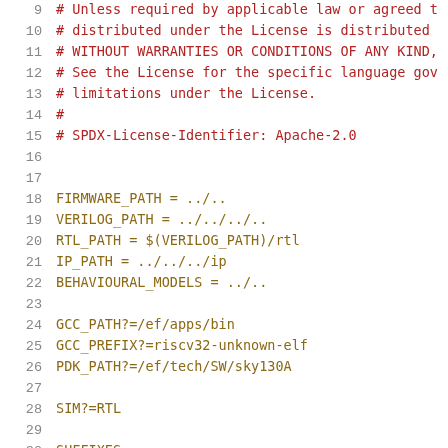9   # Unless required by applicable law or agreed to
10  # distributed under the License is distributed on
11  # WITHOUT WARRANTIES OR CONDITIONS OF ANY KIND,
12  # See the License for the specific language gove
13  # limitations under the License.
14  #
15  # SPDX-License-Identifier: Apache-2.0
16  
17  
18  FIRMWARE_PATH = ../..
19  VERILOG_PATH = ../../../..
20  RTL_PATH = $(VERILOG_PATH)/rtl
21  IP_PATH = ../../../ip
22  BEHAVIOURAL_MODELS = ../..
23  
24  GCC_PATH?=/ef/apps/bin
25  GCC_PREFIX?=riscv32-unknown-elf
26  PDK_PATH?=/ef/tech/SW/sky130A
27  
28  SIM?=RTL
29  
30  SUFFIXES: